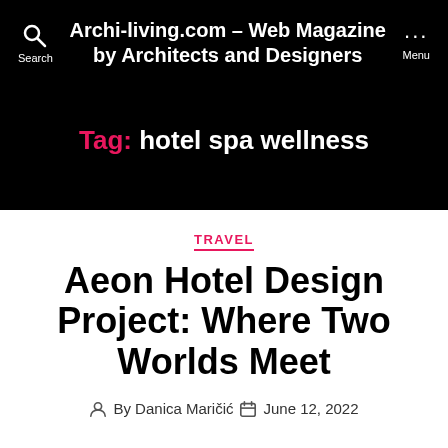Archi-living.com – Web Magazine by Architects and Designers
Tag: hotel spa wellness
TRAVEL
Aeon Hotel Design Project: Where Two Worlds Meet
By Danica Maričić  June 12, 2022